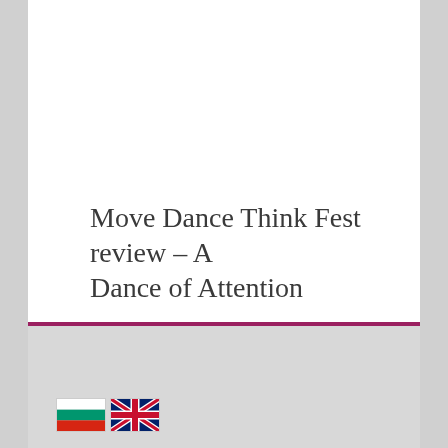Move Dance Think Fest review – A Dance of Attention
[Figure (illustration): Bulgarian flag icon followed by UK Union Jack flag icon]